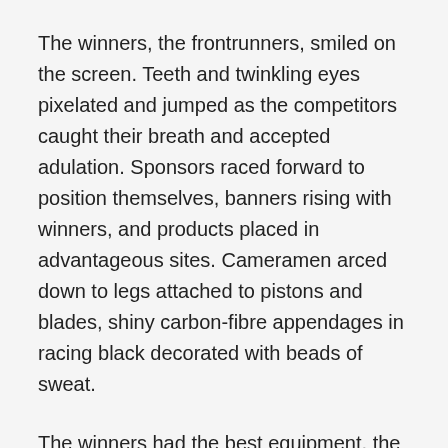The winners, the frontrunners, smiled on the screen. Teeth and twinkling eyes pixelated and jumped as the competitors caught their breath and accepted adulation. Sponsors raced forward to position themselves, banners rising with winners, and products placed in advantageous sites. Cameramen arced down to legs attached to pistons and blades, shiny carbon-fibre appendages in racing black decorated with beads of sweat.
The winners had the best equipment, the biggest sponsors, the most money, and Sarah sighed.
Even pixelated the racing blades, the prosthetics, and the artificial limbs shone as state of the art. Money bought winners, and winners bought sponsors, and from the crowd’s clamour about her, that bought adoration and fame. She bit her lip and climbed into a standing position to stare down the road, but only shiny blades continued to catch the light and